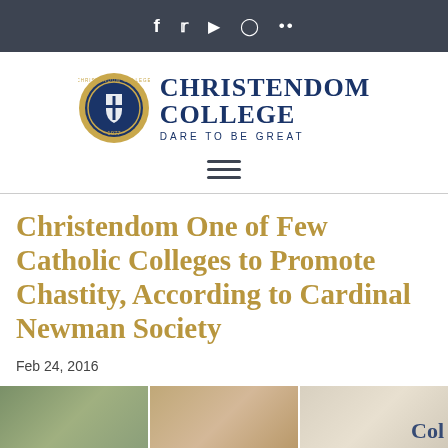f  y  ▶  ⊙  ••
[Figure (logo): Christendom College logo with circular seal on left and text 'CHRISTENDOM COLLEGE — DARE TO BE GREAT' on right]
Christendom One of Few Catholic Colleges to Promote Chastity, According to Cardinal Newman Society
Feb 24, 2016
[Figure (photo): Three partial images forming a strip at the bottom of the page showing outdoor scenes and a partial word 'Col...']